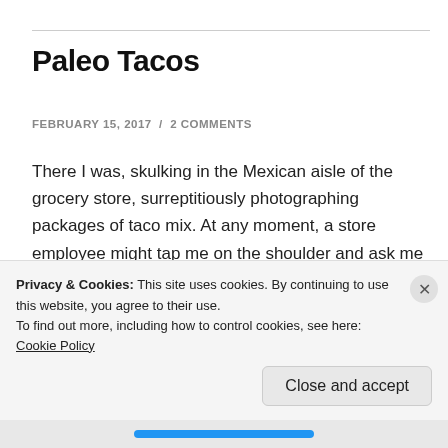Paleo Tacos
FEBRUARY 15, 2017  /  2 COMMENTS
There I was, skulking in the Mexican aisle of the grocery store, surreptitiously photographing packages of taco mix. At any moment, a store employee might tap me on the shoulder and ask me to leave.
My goal? To create taco-seasoned ground beef that had
Privacy & Cookies: This site uses cookies. By continuing to use this website, you agree to their use.
To find out more, including how to control cookies, see here: Cookie Policy
Close and accept